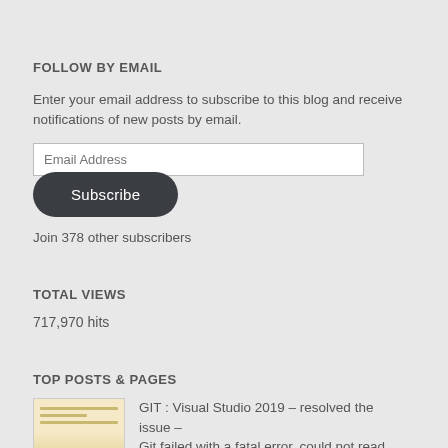FOLLOW BY EMAIL
Enter your email address to subscribe to this blog and receive notifications of new posts by email.
Email Address
Subscribe
Join 378 other subscribers
TOTAL VIEWS
717,970 hits
TOP POSTS & PAGES
GIT : Visual Studio 2019 – resolved the issue – Git failed with a fatal error. could not read